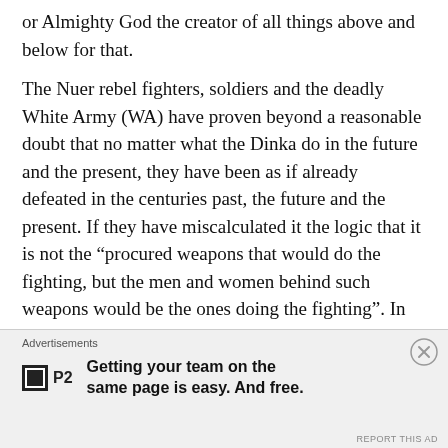or Almighty God the creator of all things above and below for that.

The Nuer rebel fighters, soldiers and the deadly White Army (WA) have proven beyond a reasonable doubt that no matter what the Dinka do in the future and the present, they have been as if already defeated in the centuries past, the future and the present. If they have miscalculated it the logic that it is not the “procured weapons that would do the fighting, but the men and women behind such weapons would be the ones doing the fighting”. In terms of the military logic and strategic studies, it is not often the weapons that make defeats against the enemy possible, but the tactics, the command structure, organization, the leadership that provides
[Figure (other): Advertisement banner: P2 logo with text 'Getting your team on the same page is easy. And free.' with a close button (X circle) in the upper right corner.]